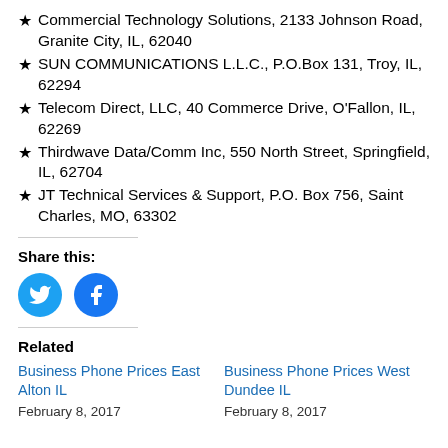★ Commercial Technology Solutions, 2133 Johnson Road, Granite City, IL, 62040
★ SUN COMMUNICATIONS L.L.C., P.O.Box 131, Troy, IL, 62294
★ Telecom Direct, LLC, 40 Commerce Drive, O'Fallon, IL, 62269
★ Thirdwave Data/Comm Inc, 550 North Street, Springfield, IL, 62704
★ JT Technical Services & Support, P.O. Box 756, Saint Charles, MO, 63302
Share this:
[Figure (illustration): Twitter and Facebook share buttons as circular blue icons]
Related
Business Phone Prices East Alton IL — February 8, 2017
Business Phone Prices West Dundee IL — February 8, 2017